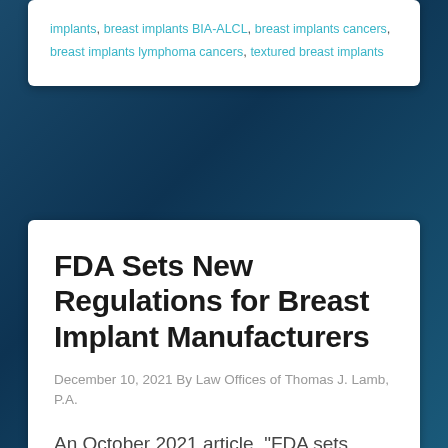implants, breast implants BIA-ALCL, breast implants cancers, breast implants lymphoma cancers, textured breast implants
FDA Sets New Regulations for Breast Implant Manufacturers
December 10, 2021 By Law Offices of Thomas J. Lamb, P.A.
An October 2021 article, "FDA sets stronger safety warnings for breast implants", addresses the Food and